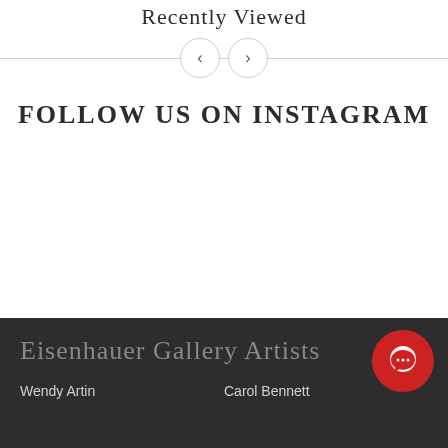Recently Viewed
[Figure (other): Navigation arrows (previous/next) with horizontal dividing line for Recently Viewed carousel]
FOLLOW US ON INSTAGRAM
Eisenhauer Gallery Artists
Wendy Artin
Carol Bennett
[Figure (other): Red circular chat button with speech bubble icon in footer]